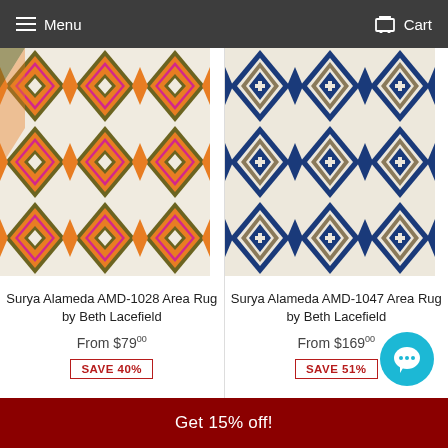Menu   Cart
[Figure (photo): Surya Alameda AMD-1028 area rug with orange, magenta/pink, and olive green ikat diamond pattern on white background]
Surya Alameda AMD-1028 Area Rug by Beth Lacefield
From $79.00
SAVE 40%
[Figure (photo): Surya Alameda AMD-1047 area rug with navy blue, taupe/khaki geometric ikat diamond pattern on cream/white background]
Surya Alameda AMD-1047 Area Rug by Beth Lacefield
From $169.00
SAVE 51%
Get 15% off!